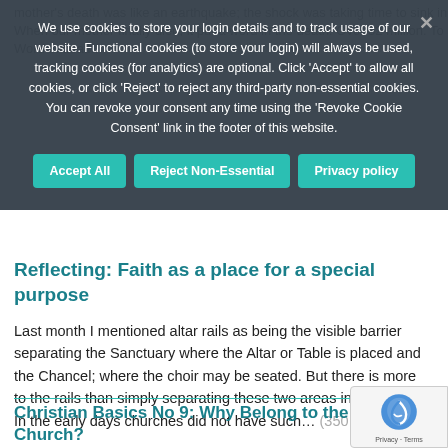mother's death was like an earthquake; the shock was taking time to sink in. When our mother finally died, it put a word in the death. Over 32 million. To a Word in death.
We use cookies to store your login details and to track usage of our website. Functional cookies (to store your login) will always be used, tracking cookies (for analytics) are optional. Click 'Accept' to allow all cookies, or click 'Reject' to reject any third-party non-essential cookies. You can revoke your consent any time using the 'Revoke Cookie Consent' link in the footer of this website.
Reflecting: Faith as a place for a special purpose
Last month I mentioned altar rails as being the visible barrier separating the Sanctuary where the Altar or Table is placed and the Chancel; where the choir may be seated. But there is more to the rails than simply separating these two areas in a church. In the early days churches did not have such… (350 words)
Christian Basics No 9: Why Belong to the Church?